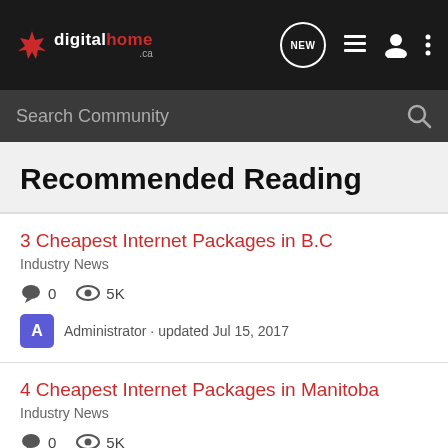digitalhome.ca — NEW navigation bar with search
Recommended Reading
3 Cheapest Internet Packages in B.C
Industry News
0 comments · 5K views
Administrator · updated Jul 15, 2017
4 Cheapest Internet Packages in Manitoba
Industry News
0 comments · 5K views